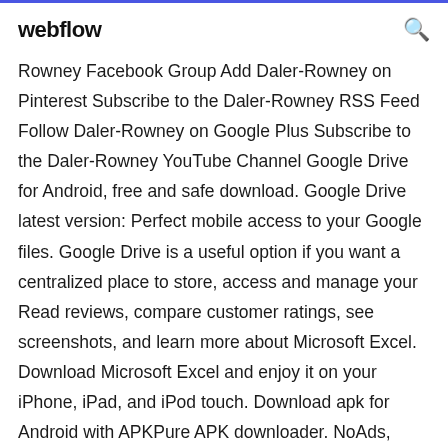webflow
Rowney Facebook Group Add Daler-Rowney on Pinterest Subscribe to the Daler-Rowney RSS Feed Follow Daler-Rowney on Google Plus Subscribe to the Daler-Rowney YouTube Channel Google Drive for Android, free and safe download. Google Drive latest version: Perfect mobile access to your Google files. Google Drive is a useful option if you want a centralized place to store, access and manage your Read reviews, compare customer ratings, see screenshots, and learn more about Microsoft Excel. Download Microsoft Excel and enjoy it on your iPhone, iPad, and iPod touch. Download apk for Android with APKPure APK downloader. NoAds, Faster apk downloads and